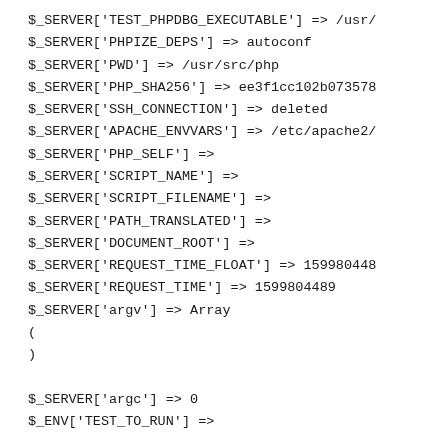$_SERVER['TEST_PHPDBG_EXECUTABLE'] => /usr/
$_SERVER['PHPIZE_DEPS'] => autoconf
$_SERVER['PWD'] => /usr/src/php
$_SERVER['PHP_SHA256'] => ee3f1cc102b073578
$_SERVER['SSH_CONNECTION'] => deleted
$_SERVER['APACHE_ENVVARS'] => /etc/apache2/
$_SERVER['PHP_SELF'] =>
$_SERVER['SCRIPT_NAME'] =>
$_SERVER['SCRIPT_FILENAME'] =>
$_SERVER['PATH_TRANSLATED'] =>
$_SERVER['DOCUMENT_ROOT'] =>
$_SERVER['REQUEST_TIME_FLOAT'] => 159980448
$_SERVER['REQUEST_TIME'] => 1599804489
$_SERVER['argv'] => Array
(
)

$_SERVER['argc'] => 0
$_ENV['TEST_TO_RUN'] =>